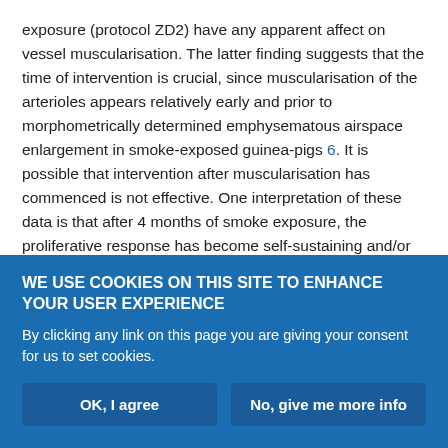exposure (protocol ZD2) have any apparent affect on vessel muscularisation. The latter finding suggests that the time of intervention is crucial, since muscularisation of the arterioles appears relatively early and prior to morphometrically determined emphysematous airspace enlargement in smoke-exposed guinea-pigs 6. It is possible that intervention after muscularisation has commenced is not effective. One interpretation of these data is that after 4 months of smoke exposure, the proliferative response has become self-sustaining and/or is driven by mediators different from those important initially. In contrast to this suggestion are the data of Cowan et al. 14, in which ZD0892 was given 21 days after injection
WE USE COOKIES ON THIS SITE TO ENHANCE YOUR USER EXPERIENCE
By clicking any link on this page you are giving your consent for us to set cookies.